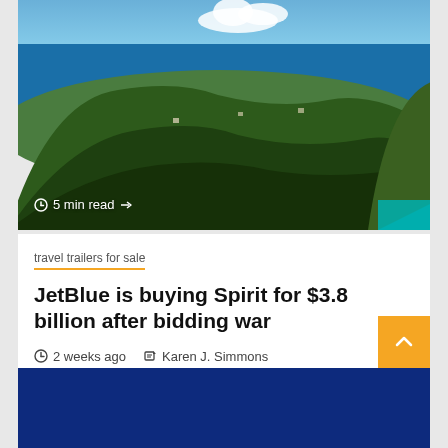[Figure (photo): Aerial photograph of tropical green hillside island with blue ocean in background and clouds in sky. Teal-colored structure visible at bottom right corner. '5 min read' label with arrow overlaid on image.]
5 min read
travel trailers for sale
JetBlue is buying Spirit for $3.8 billion after bidding war
2 weeks ago  Karen J. Simmons